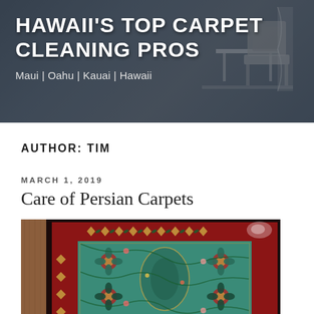[Figure (photo): Header banner showing an interior room with furniture (chairs, carpet) in dark/muted tones serving as background for site title]
HAWAII'S TOP CARPET CLEANING PROS
Maui | Oahu | Kauai | Hawaii
AUTHOR: TIM
MARCH 1, 2019
Care of Persian Carpets
[Figure (photo): Close-up photograph of a colorful Persian/Oriental carpet with intricate floral and geometric patterns in red, teal/green, and dark colors]